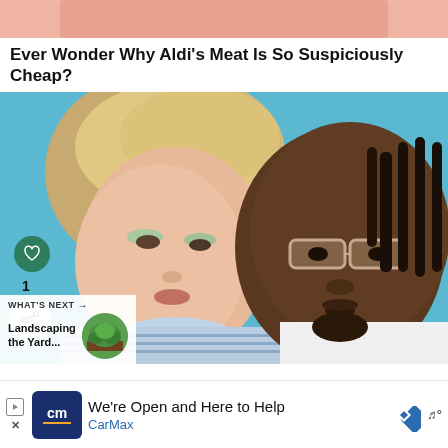[Figure (photo): Partial top banner image with peach/salmon color background]
Ever Wonder Why Aldi's Meat Is So Suspiciously Cheap?
[Figure (photo): Photo of two celebrities posing together in front of a teal/blue background. A woman with blonde hair on the left wearing a striped shirt, and a man with glasses on the right wearing a white shirt. Social interaction icons (heart, share) and 'What's Next' promo overlay visible.]
[Figure (advertisement): CarMax advertisement bar: 'We're Open and Here to Help' with CarMax logo and navigation icon]